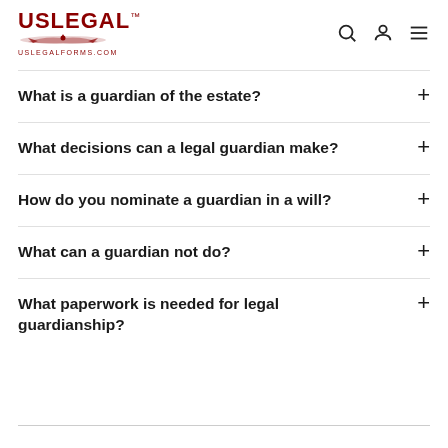USLEGAL uslegalforms.com
What is a guardian of the estate?
What decisions can a legal guardian make?
How do you nominate a guardian in a will?
What can a guardian not do?
What paperwork is needed for legal guardianship?